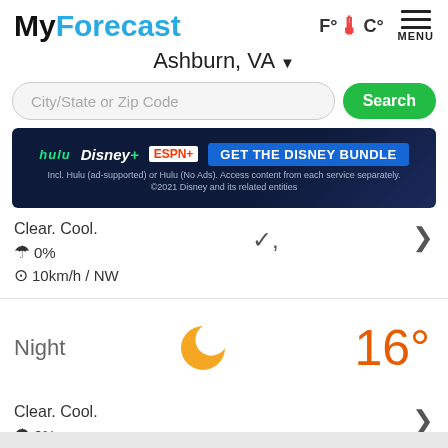MyForecast — F°C° MENU
Ashburn, VA ▼
City/State or Zip Code — Search
[Figure (other): Disney Bundle advertisement banner showing Hulu, Disney+, ESPN+ logos and 'GET THE DISNEY BUNDLE' call to action]
Clear. Cool.
☂ 0%
⊙10km/h / NW
Night — crescent moon icon — 16°
Clear. Cool.
☂ 0%
⊙9km/h / W